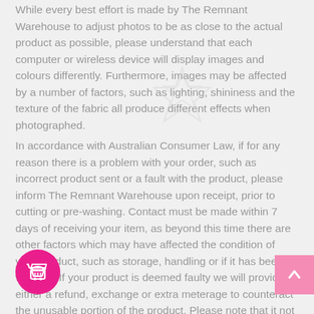While every best effort is made by The Remnant Warehouse to adjust photos to be as close to the actual product as possible, please understand that each computer or wireless device will display images and colours differently. Furthermore, images may be affected by a number of factors, such as lighting, shininess and the texture of the fabric all produce different effects when photographed.
In accordance with Australian Consumer Law, if for any reason there is a problem with your order, such as incorrect product sent or a fault with the product, please inform The Remnant Warehouse upon receipt, prior to cutting or pre-washing. Contact must be made within 7 days of receiving your item, as beyond this time there are other factors which may have affected the condition of your product, such as storage, handling or if it has been washed. If your product is deemed faulty we will provide either a refund, exchange or extra meterage to counteract the unusable portion of the product. Please note that it not matching something you have at home does not qualify as faulty, this is treated as a change of mind.